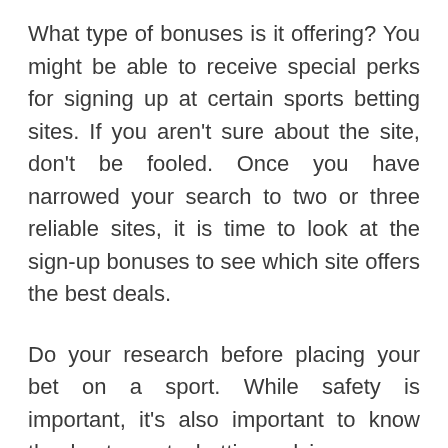What type of bonuses is it offering? You might be able to receive special perks for signing up at certain sports betting sites. If you aren't sure about the site, don't be fooled. Once you have narrowed your search to two or three reliable sites, it is time to look at the sign-up bonuses to see which site offers the best deals.
Do your research before placing your bet on a sport. While safety is important, it's also important to know the best sports betting advice so you can place your bet safely.